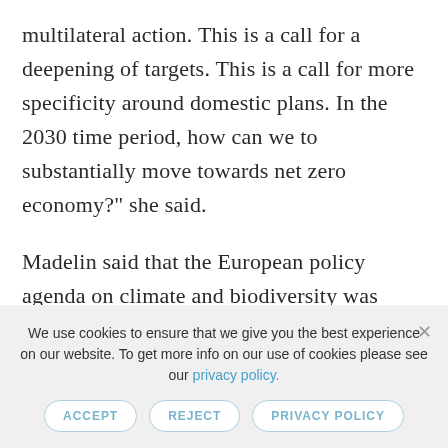multilateral action. This is a call for a deepening of targets. This is a call for more specificity around domestic plans. In the 2030 time period, how can we to substantially move towards net zero economy?” she said.
Madelin said that the European policy agenda on climate and biodiversity was promising, such as the carbon border...
We use cookies to ensure that we give you the best experience on our website. To get more info on our use of cookies please see our privacy policy.